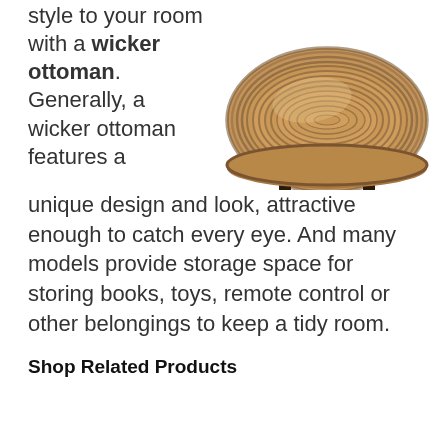style to your room with a wicker ottoman. Generally, a wicker ottoman features a unique design and look, attractive enough to catch every eye. And many models provide storage space for storing books, toys, remote control or other belongings to keep a tidy room.
[Figure (photo): A round wicker ottoman with a flat woven natural fiber top, dome shape, on four short dark wooden legs.]
Shop Related Products